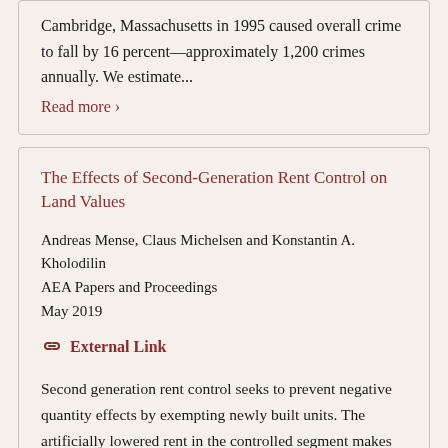Cambridge, Massachusetts in 1995 caused overall crime to fall by 16 percent—approximately 1,200 crimes annually. We estimate...
Read more ›
The Effects of Second-Generation Rent Control on Land Values
Andreas Mense, Claus Michelsen and Konstantin A. Kholodilin
AEA Papers and Proceedings
May 2019
🔗 External Link
Second generation rent control seeks to prevent negative quantity effects by exempting newly built units. The artificially lowered rent in the controlled segment makes renting attractive for households